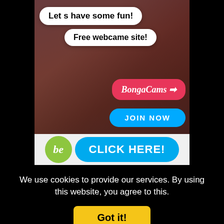[Figure (screenshot): Adult webcam advertisement banner for BongaCams showing speech bubbles 'Let s have some fun!' and 'Free webcame site!' with BongaCams logo and JOIN NOW button]
[Figure (screenshot): Click Here banner with green circular logo and blue CLICK HERE! button]
We use cookies to provide our services. By using this website, you agree to this.
Got it!
More information